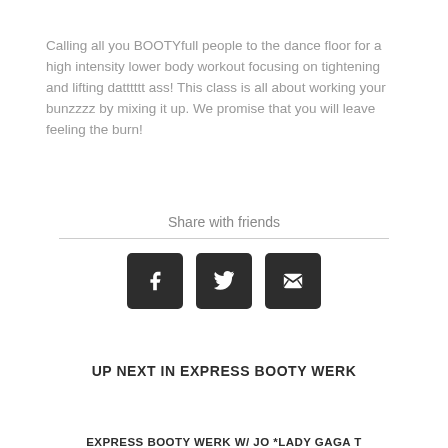Calling all you BOOTYfull people to the dance floor for a high intensity lower body workout focusing on tightening and lifting datttttt ass! This class is all about working your bunzzzz by mixing it up. We promise that you will leave feeling the burn!
Share with friends
[Figure (other): Three dark square social share buttons: Facebook (f), Twitter (bird), and Email (envelope)]
UP NEXT IN EXPRESS BOOTY WERK
EXPRESS BOOTY WERK W/ JO *LADY GAGA T